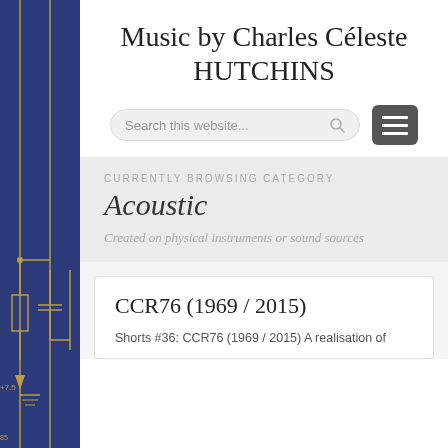Music by Charles Céleste HUTCHINS
[Figure (screenshot): Search bar with placeholder text 'Search this website...' and a hamburger menu button]
CURRENTLY BROWSING CATEGORY
Acoustic
Created on physical instruments or sound sources
CCR76 (1969 / 2015)
Shorts #36: CCR76 (1969 / 2015) A realisation of